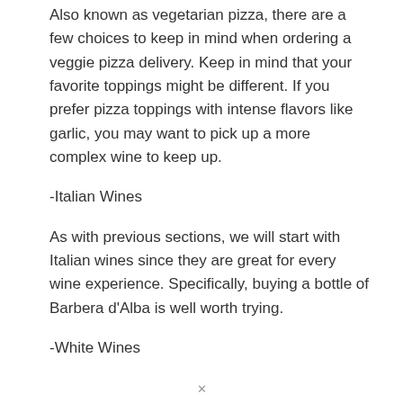Also known as vegetarian pizza, there are a few choices to keep in mind when ordering a veggie pizza delivery. Keep in mind that your favorite toppings might be different. If you prefer pizza toppings with intense flavors like garlic, you may want to pick up a more complex wine to keep up.
-Italian Wines
As with previous sections, we will start with Italian wines since they are great for every wine experience. Specifically, buying a bottle of Barbera d'Alba is well worth trying.
-White Wines